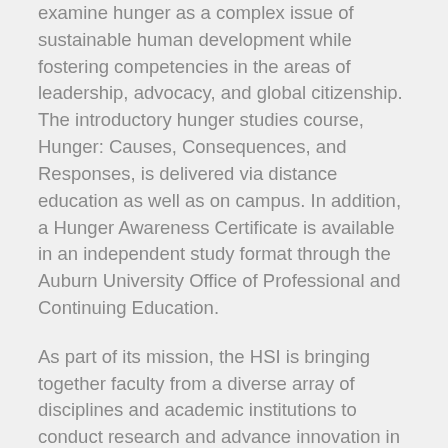examine hunger as a complex issue of sustainable human development while fostering competencies in the areas of leadership, advocacy, and global citizenship. The introductory hunger studies course, Hunger: Causes, Consequences, and Responses, is delivered via distance education as well as on campus. In addition, a Hunger Awareness Certificate is available in an independent study format through the Auburn University Office of Professional and Continuing Education.
As part of its mission, the HSI is bringing together faculty from a diverse array of disciplines and academic institutions to conduct research and advance innovation in the creation of dynamic 21st century sustainable solutions to ending hunger. These projects are designed to address the root causes of hunger and food insecurity with a current focus on issues related to enhanced technologies, empowerment of women, access to education, and community development.
Increasingly, universities are being called upon to use their many talents to address the global challenges that affect the